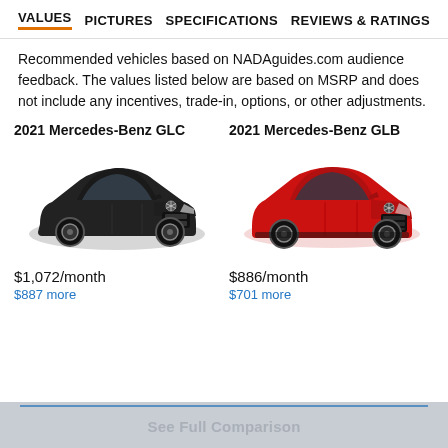VALUES   PICTURES   SPECIFICATIONS   REVIEWS & RATINGS
Recommended vehicles based on NADAguides.com audience feedback. The values listed below are based on MSRP and does not include any incentives, trade-in, options, or other adjustments.
2021 Mercedes-Benz GLC
[Figure (photo): 2021 Mercedes-Benz GLC black SUV]
$1,072/month
$887 more
2021 Mercedes-Benz GLB
[Figure (photo): 2021 Mercedes-Benz GLB red SUV]
$886/month
$701 more
See Full Comparison